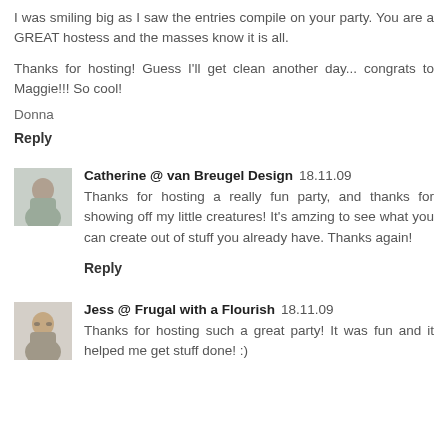I was smiling big as I saw the entries compile on your party. You are a GREAT hostess and the masses know it is all.
Thanks for hosting! Guess I'll get clean another day... congrats to Maggie!!! So cool!
Donna
Reply
Catherine @ van Breugel Design 18.11.09
Thanks for hosting a really fun party, and thanks for showing off my little creatures! It's amzing to see what you can create out of stuff you already have. Thanks again!
Reply
Jess @ Frugal with a Flourish 18.11.09
Thanks for hosting such a great party! It was fun and it helped me get stuff done! :)